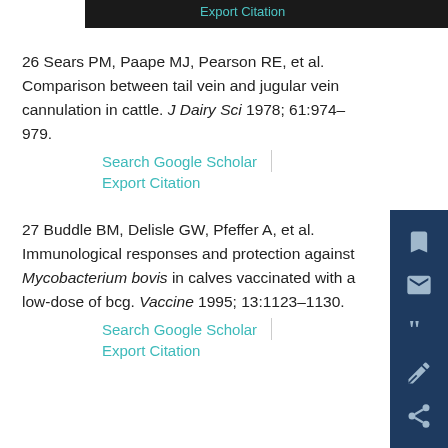26 Sears PM, Paape MJ, Pearson RE, et al. Comparison between tail vein and jugular vein cannulation in cattle. J Dairy Sci 1978; 61:974–979.
27 Buddle BM, Delisle GW, Pfeffer A, et al. Immunological responses and protection against Mycobacterium bovis in calves vaccinated with a low-dose of bcg. Vaccine 1995; 13:1123–1130.